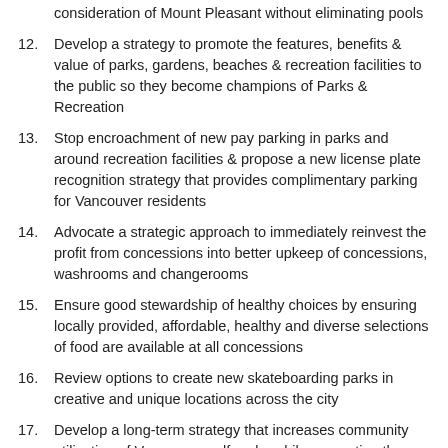pools including Templeton and New Brighton, respecting uniqueness of local cultures and traditions and commit to building 1 new outdoor pool in next 5 years with consideration of Mount Pleasant without eliminating pools
Develop a strategy to promote the features, benefits & value of parks, gardens, beaches & recreation facilities to the public so they become champions of Parks & Recreation
Stop encroachment of new pay parking in parks and around recreation facilities & propose a new license plate recognition strategy that provides complimentary parking for Vancouver residents
Advocate a strategic approach to immediately reinvest the profit from concessions into better upkeep of concessions, washrooms and changerooms
Ensure good stewardship of healthy choices by ensuring locally provided, affordable, healthy and diverse selections of food are available at all concessions
Review options to create new skateboarding parks in creative and unique locations across the city
Develop a long-term strategy that increases community utilization of Vancouver golf parks while supporting the existing course length, but also maximizes creative utilization of the entire park footprint for green